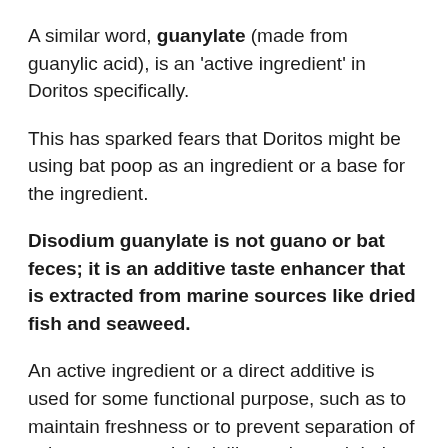A similar word, guanylate (made from guanylic acid), is an ‘active ingredient’ in Doritos specifically.
This has sparked fears that Doritos might be using bat poop as an ingredient or a base for the ingredient.
Disodium guanylate is not guano or bat feces; it is an additive taste enhancer that is extracted from marine sources like dried fish and seaweed.
An active ingredient or a direct additive is used for some functional purpose, such as to maintain freshness or to prevent separation of substances, etc. It is deliberately used during the packaging,